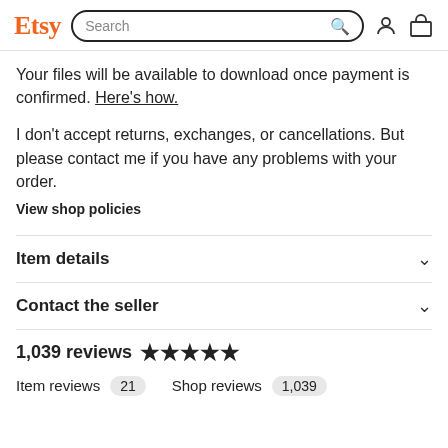Etsy Search
Your files will be available to download once payment is confirmed. Here's how.
I don't accept returns, exchanges, or cancellations. But please contact me if you have any problems with your order.
View shop policies
Item details
Contact the seller
1,039 reviews ★★★★★
Item reviews 21   Shop reviews 1,039